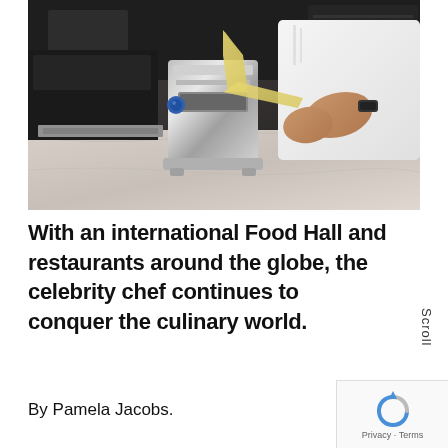[Figure (photo): A chef in white uniform using a stainless steel pasta machine on a marble countertop, feeding pasta dough through the roller. Kitchen equipment visible in background.]
With an international Food Hall and restaurants around the globe, the celebrity chef continues to conquer the culinary world.
By Pamela Jacobs.